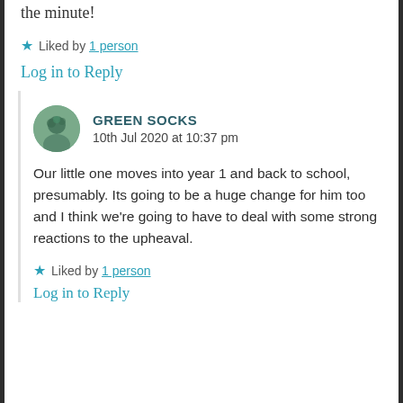the minute!
★ Liked by 1 person
Log in to Reply
GREEN SOCKS
10th Jul 2020 at 10:37 pm
Our little one moves into year 1 and back to school, presumably. Its going to be a huge change for him too and I think we're going to have to deal with some strong reactions to the upheaval.
★ Liked by 1 person
Log in to Reply